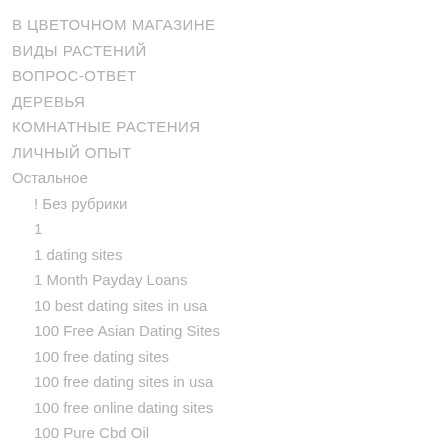В ЦВЕТОЧНОМ МАГАЗИНЕ
ВИДЫ РАСТЕНИЙ
ВОПРОС-ОТВЕТ
ДЕРЕВЬЯ
КОМНАТНЫЕ РАСТЕНИЯ
ЛИЧНЫЙ ОПЫТ
Остальное
! Без рубрики
1
1 dating sites
1 Month Payday Loans
10 best dating sites in usa
100 Free Asian Dating Sites
100 free dating sites
100 free dating sites in usa
100 free online dating sites
100 Pure Cbd Oil
12 Months Installment Loans